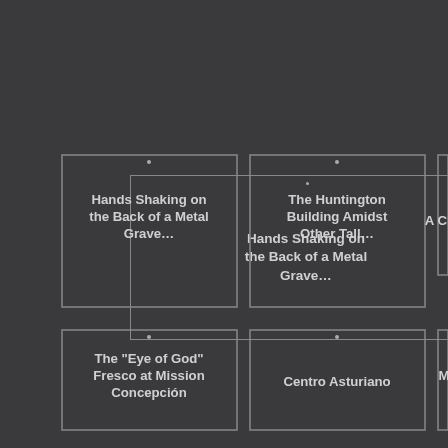[Figure (screenshot): Grid layout UI showing image cards with titles on dark background. Top row: 'Hands Shaking on the Back of a Metal Grave...', 'The Huntington Building Amidst Other Tall...', 'A Clas... C...' (partially visible). Bottom row: 'The "Eye of God" Fresco at Mission Concepción', 'Centro Asturiano', 'Missio...' (partially visible).]